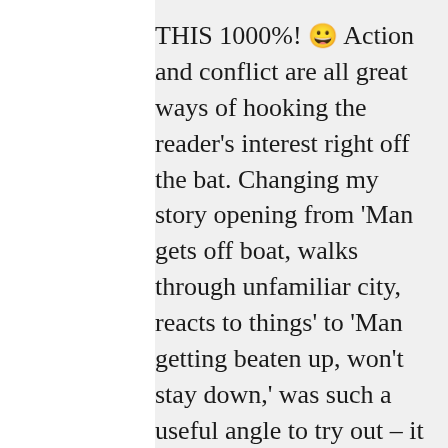THIS 1000%! 😀 Action and conflict are all great ways of hooking the reader's interest right off the bat. Changing my story opening from 'Man gets off boat, walks through unfamiliar city, reacts to things' to 'Man getting beaten up, won't stay down,' was such a useful angle to try out – it makes the reader curious to read on, presents an underdog character (hopefully!) who's down but not out, and dialogue